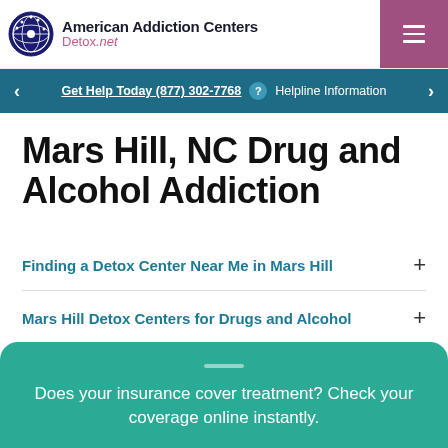[Figure (logo): American Addiction Centers Detox.net logo with circular badge icon]
Get Help Today (877) 302-7768 ? Helpline Information
Mars Hill, NC Drug and Alcohol Addiction
Finding a Detox Center Near Me in Mars Hill
Mars Hill Detox Centers for Drugs and Alcohol
Does your insurance cover treatment? Check your coverage online instantly.